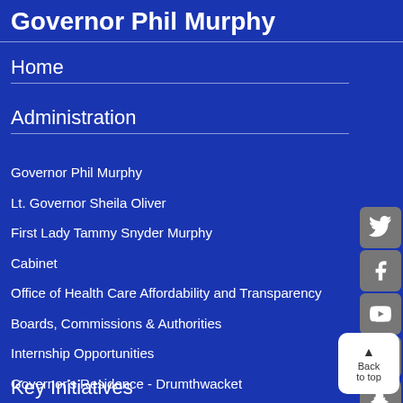Governor Phil Murphy
Home
Administration
Governor Phil Murphy
Lt. Governor Sheila Oliver
First Lady Tammy Snyder Murphy
Cabinet
Office of Health Care Affordability and Transparency
Boards, Commissions & Authorities
Internship Opportunities
Governor's Residence - Drumthwacket
Key Initiatives